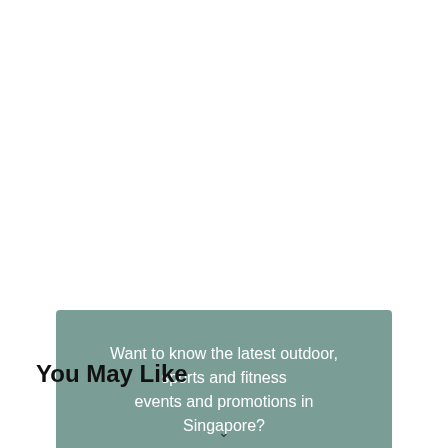[Figure (infographic): Teal/sage green banner with white text asking about outdoor, sports and fitness events in Singapore, with a dark navy button 'Join us on Telegram!']
You May Like